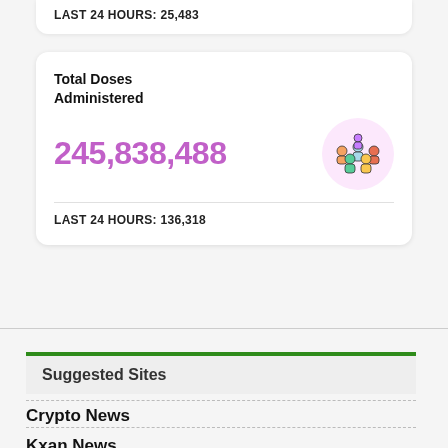LAST 24 HOURS: 25,483
Total Doses Administered
245,838,488
[Figure (illustration): Colorful illustrated icon of a group of people inside a pink circle]
LAST 24 HOURS: 136,318
Suggested Sites
Crypto News
Kxan News